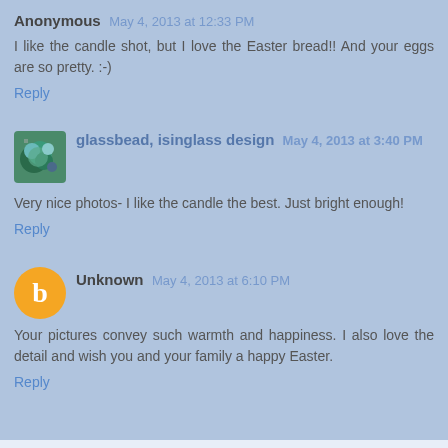Anonymous May 4, 2013 at 12:33 PM
I like the candle shot, but I love the Easter bread!! And your eggs are so pretty. :-)
Reply
[Figure (photo): Avatar thumbnail showing a colorful glass/artistic image for glassbead isinglass design user]
glassbead, isinglass design May 4, 2013 at 3:40 PM
Very nice photos- I like the candle the best. Just bright enough!
Reply
[Figure (logo): Orange circle with white letter B - Blogger default avatar icon]
Unknown May 4, 2013 at 6:10 PM
Your pictures convey such warmth and happiness. I also love the detail and wish you and your family a happy Easter.
Reply